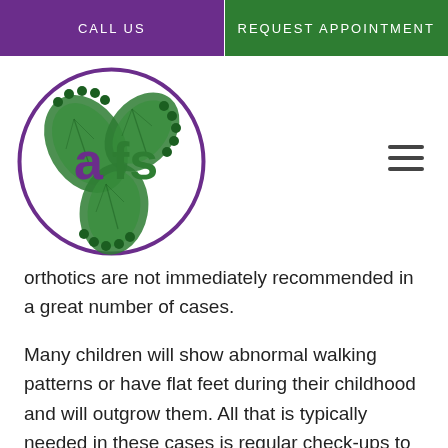CALL US | REQUEST APPOINTMENT
[Figure (logo): AFS logo — circular purple border with green leaf-textured footprints and the letters 'afs' in purple and green]
orthotics are not immediately recommended in a great number of cases.
Many children will show abnormal walking patterns or have flat feet during their childhood and will outgrow them. All that is typically needed in these cases is regular check-ups to make sure the condition is improving over time. If it is staying static by a certain age milestone, or